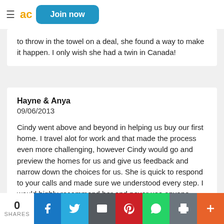Join now
to throw in the towel on a deal, she found a way to make it happen. I only wish she had a twin in Canada!
Hayne & Anya
09/06/2013

Cindy went above and beyond in helping us buy our first home. I travel alot for work and that made the process even more challenging, however Cindy would go and preview the homes for us and give us feedback and narrow down the choices for us. She is quick to respond to your calls and made sure we understood every step. I would highly recommend her and never use anyone else!
0 SHARES